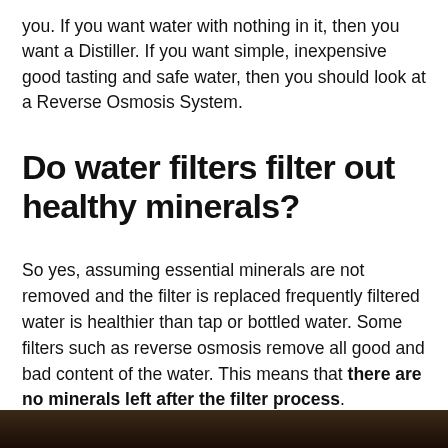you. If you want water with nothing in it, then you want a Distiller. If you want simple, inexpensive good tasting and safe water, then you should look at a Reverse Osmosis System.
Do water filters filter out healthy minerals?
So yes, assuming essential minerals are not removed and the filter is replaced frequently filtered water is healthier than tap or bottled water. Some filters such as reverse osmosis remove all good and bad content of the water. This means that there are no minerals left after the filter process.
[Figure (photo): Dark image strip at the bottom of the page, partially visible photograph]